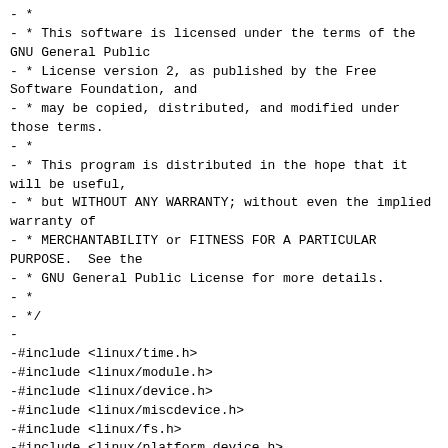- *
- * This software is licensed under the terms of the GNU General Public
- * License version 2, as published by the Free Software Foundation, and
- * may be copied, distributed, and modified under those terms.
- *
- * This program is distributed in the hope that it will be useful,
- * but WITHOUT ANY WARRANTY; without even the implied warranty of
- * MERCHANTABILITY or FITNESS FOR A PARTICULAR PURPOSE.  See the
- * GNU General Public License for more details.
- *
- */
-
-#include <linux/time.h>
-#include <linux/module.h>
-#include <linux/device.h>
-#include <linux/miscdevice.h>
-#include <linux/fs.h>
-#include <linux/platform_device.h>
-#include <linux/sched.h>
-#include <linux/spinlock.h>
-#include <linux/uaccess.h>
-#include <linux/alarmtimer.h>
-#include "android_alarm.h"
-